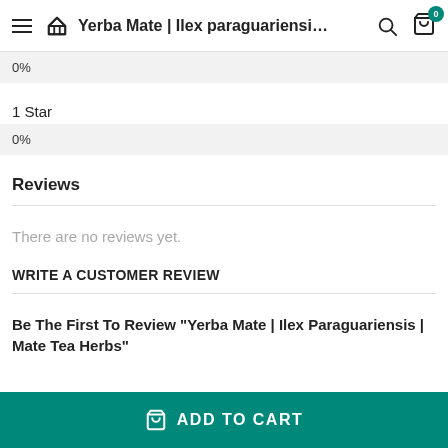Yerba Mate | Ilex paraguariensi...
0%
1 Star
0%
Reviews
There are no reviews yet.
WRITE A CUSTOMER REVIEW
Be The First To Review “Yerba Mate | Ilex Paraguariensis | Mate Tea Herbs”
ADD TO CART